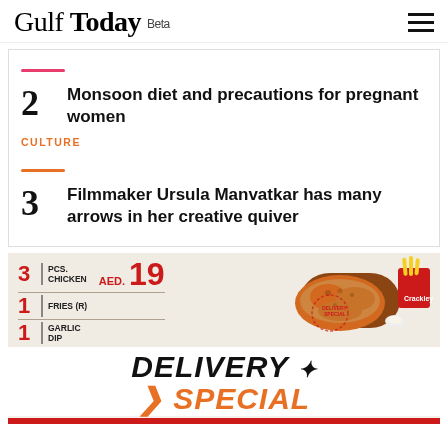Gulf Today Beta
2
Monsoon diet and precautions for pregnant women
CULTURE
3
Filmmaker Ursula Manvatkar has many arrows in her creative quiver
[Figure (photo): Advertisement for a chicken delivery special: 3 pcs. chicken, 1 fries (R), 1 garlic dip for AED 19, with image of fried chicken and fries. Text reads DELIVERY SPECIAL.]